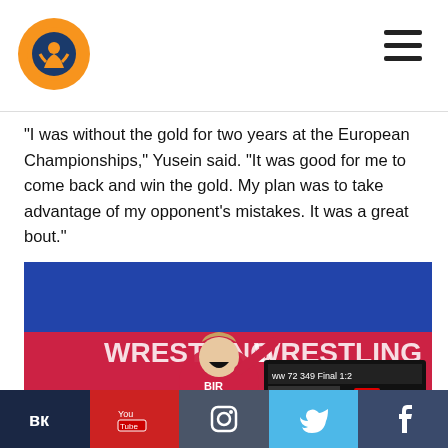UWW Wrestling logo and navigation menu
"I was without the gold for two years at the European Championships," Yusein said. "It was good for me to come back and win the gold. My plan was to take advantage of my opponent's mistakes. It was a great bout."
[Figure (photo): Two female wrestlers competing on mat, one in red singlet celebrating while controlling opponent; scoreboard shows GER vs TUR, score 0:51 with 6 points; Nike Wrestling branding visible in background arena]
Social media links: VK, YouTube, Instagram, Twitter, Facebook